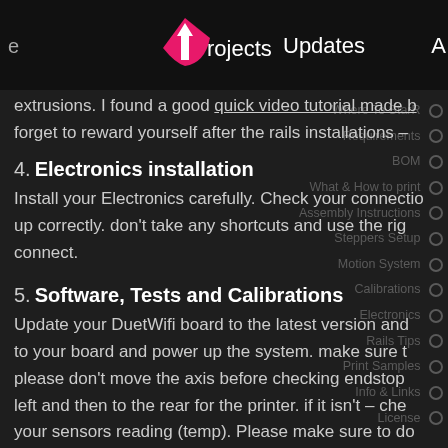Projects | Updates | A
extrusions. I found a good quick video tutorial made b... forget to reward yourself after the rails installations –
4. Electronics installation
Install your Electronics carefully. Check your connectio... up correctly. don't take any shortcuts and use the rig... connect.
5. Software, Tests and Calibrations
Update your DuetWifi board to the latest version and... to your board and power up the system. make sure t... please don't move the axis before checking endstop... left and then to the rear for the printer. if it isn't – che... your sensors reading (temp). Please make sure to do...